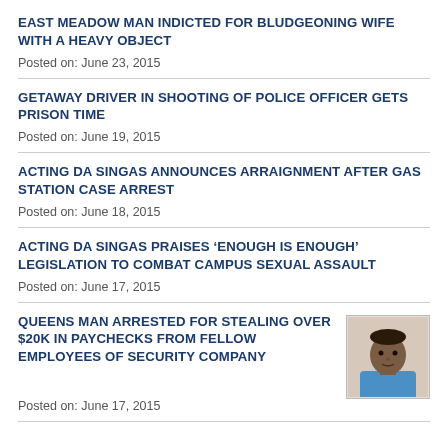EAST MEADOW MAN INDICTED FOR BLUDGEONING WIFE WITH A HEAVY OBJECT
Posted on: June 23, 2015
GETAWAY DRIVER IN SHOOTING OF POLICE OFFICER GETS PRISON TIME
Posted on: June 19, 2015
ACTING DA SINGAS ANNOUNCES ARRAIGNMENT AFTER GAS STATION CASE ARREST
Posted on: June 18, 2015
ACTING DA SINGAS PRAISES ‘ENOUGH IS ENOUGH’ LEGISLATION TO COMBAT CAMPUS SEXUAL ASSAULT
Posted on: June 17, 2015
QUEENS MAN ARRESTED FOR STEALING OVER $20K IN PAYCHECKS FROM FELLOW EMPLOYEES OF SECURITY COMPANY
[Figure (photo): Mugshot photo of a man in a blue shirt]
Posted on: June 17, 2015